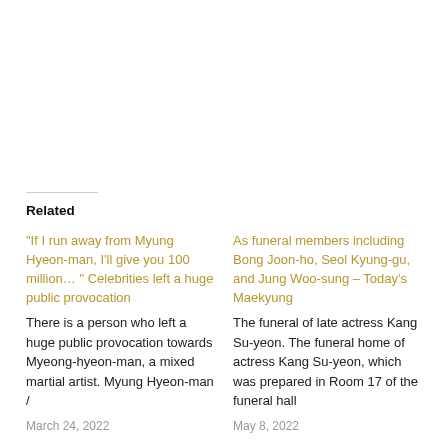Related
"If I run away from Myung Hyeon-man, I'll give you 100 million… " Celebrities left a huge public provocation
There is a person who left a huge public provocation towards Myeong-hyeon-man, a mixed martial artist. Myung Hyeon-man /
March 24, 2022
As funeral members including Bong Joon-ho, Seol Kyung-gu, and Jung Woo-sung – Today's Maekyung
The funeral of late actress Kang Su-yeon. The funeral home of actress Kang Su-yeon, which was prepared in Room 17 of the funeral hall
May 8, 2022